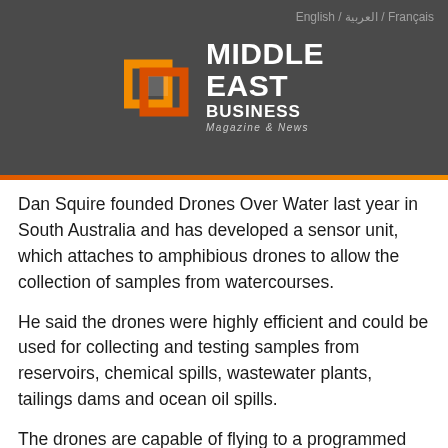English / العربية / Français
[Figure (logo): Middle East Business Magazine & News logo with geometric square icon in orange and red tones on dark grey background]
Dan Squire founded Drones Over Water last year in South Australia and has developed a sensor unit, which attaches to amphibious drones to allow the collection of samples from watercourses.
He said the drones were highly efficient and could be used for collecting and testing samples from reservoirs, chemical spills, wastewater plants, tailings dams and ocean oil spills.
The drones are capable of flying to a programmed GPS position, collecting a sample from a specific depth, testing the sample onboard and sending the data remotely.